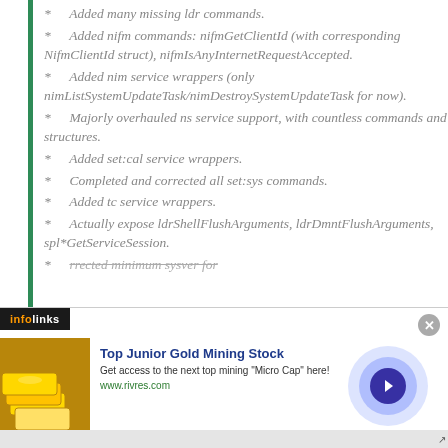* Added many missing ldr commands.
* Added nifm commands: nifmGetClientId (with corresponding NifmClientId struct), nifmIsAnyInternetRequestAccepted.
* Added nim service wrappers (only nimListSystemUpdateTask/nimDestroySystemUpdateTask for now).
* Majorly overhauled ns service support, with countless commands and structures.
* Added set:cal service wrappers.
* Completed and corrected all set:sys commands.
* Added tc service wrappers.
* Actually expose ldrShellFlushArguments, ldrDmntFlushArguments, spl*GetServiceSession.
* ...rrected minimum sysver for...
[Figure (infographic): Infolinks advertisement banner for 'Top Junior Gold Mining Stock' from www.rivres.com, featuring gold bars image, blue title text, description text, navigation arrow button, and a close button.]